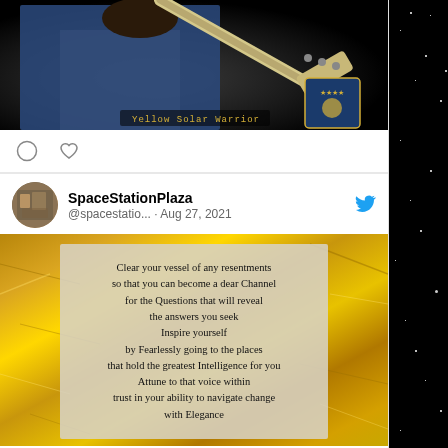[Figure (photo): Concert photo showing a person in a denim jacket holding a guitar neck, dark stage background, text overlay 'Yellow Solar Warrior' with a badge/emblem]
SpaceStationPlaza
@spacestation... · Aug 27, 2021
[Figure (photo): Image with gold crumpled foil background and a centered text box containing an inspirational poem: 'Clear your vessel of any resentments so that you can become a dear Channel for the Questions that will reveal the answers you seek Inspire yourself by Fearlessly going to the places that hold the greatest Intelligence for you Attune to that voice within trust in your ability to navigate change with Elegance']
Clear your vessel of any resentments
so that you can become a dear Channel
for the Questions that will reveal
the answers you seek
Inspire yourself
by Fearlessly going to the places
that hold the greatest Intelligence for you
Attune to that voice within
trust in your ability to navigate change
with Elegance